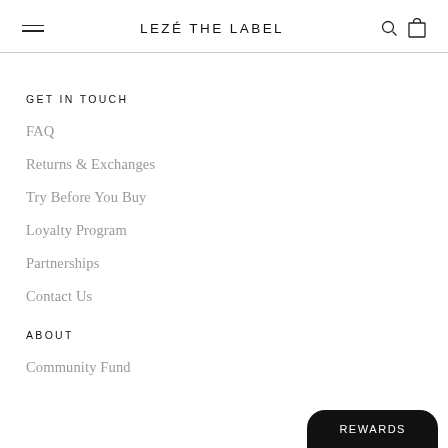LEZÉ THE LABEL
GET IN TOUCH
FAQ
Returns & Exchanges
Try Before You Buy
Loyalty Program
Partnerships
Contact Us
ABOUT
Community Fund
REWARDS